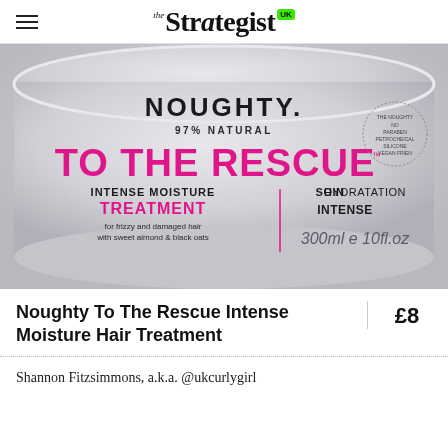the Strategist UK
[Figure (photo): Noughty 97% Natural To The Rescue Intense Moisture Treatment hair mask tub, 300ml, shown in a close-up product shot with pink and grey branding on a light grey background.]
Noughty To The Rescue Intense Moisture Hair Treatment
£8
Shannon Fitzsimmons, a.k.a. @ukcurlygirl